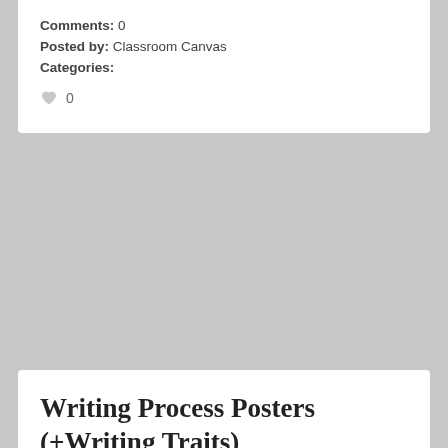Comments: 0
Posted by: Classroom Canvas
Categories:
0
Writing Process Posters (+Writing Traits)
July 15, 2012
Here is an item you can buy at my store!  Don't forget to follow me to have access to new items, product updates, and store sales and discounts!
These posters are a combination of the writing process and the traits or writing.